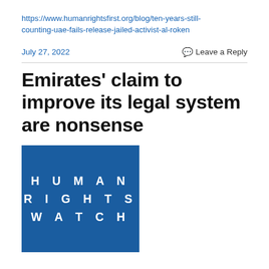https://www.humanrightsfirst.org/blog/ten-years-still-counting-uae-fails-release-jailed-activist-al-roken
July 27, 2022
Leave a Reply
Emirates' claim to improve its legal system are nonsense
[Figure (logo): Human Rights Watch logo: blue square with white bold spaced uppercase text reading HUMAN RIGHTS WATCH on three lines]